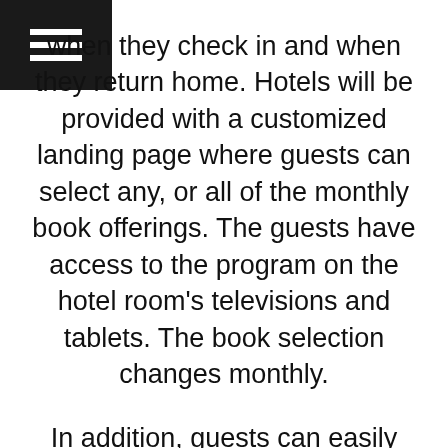[Figure (other): Hamburger menu icon — three horizontal white lines on a black square background, top-left corner]
when they check in and when they return home. Hotels will be provided with a customized landing page where guests can select any, or all of the monthly book offerings. The guests have access to the program on the hotel room's televisions and tablets. The book selection changes monthly.
In addition, guests can easily access the books anywhere via customized and scannable Links/QR codes.
Opportunities for meeting and